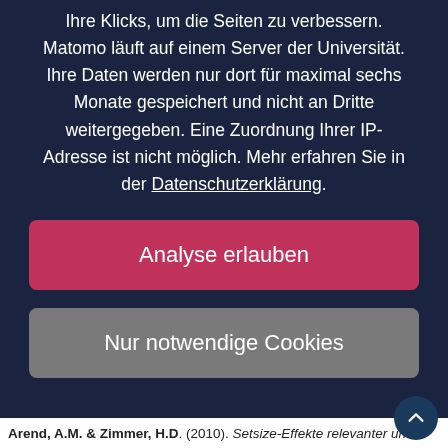Ihre Klicks, um die Seiten zu verbessern. Matomo läuft auf einem Server der Universität. Ihre Daten werden nur dort für maximal sechs Monate gespeichert und nicht an Dritte weitergegeben. Eine Zuordnung Ihrer IP-Adresse ist nicht möglich. Mehr erfahren Sie in der Datenschutzerklärung.
Analyse erlauben
Nur notwendige Cookies
Arend, A.M. & Zimmer, H.D. (2010). Setsize-Effekte relevanter und irrelevanter Informationen auf die CDA (contralateral delay activity) und slow potenti in einer Arbeitsgedächtnisaufgabe im visuellen Halbfeld-paradigma: Fr...